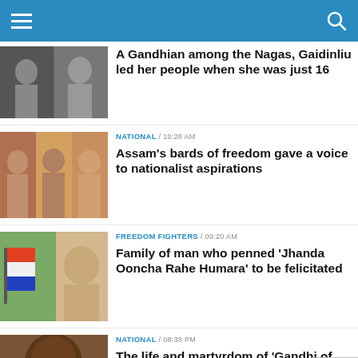Navigation bar with hamburger menu and search icon
A Gandhian among the Nagas, Gaidinliu led her people when she was just 16
NATIONAL / 10:28 AM
Assam's bards of freedom gave a voice to nationalist aspirations
FREEDOM FIGHTERS / 09:20 AM
Family of man who penned 'Jhanda Ooncha Rahe Humara' to be felicitated
NATIONAL / 08:38 PM
The life and martyrdom of 'Gandhi of Malkangiri' Laxman Nayak